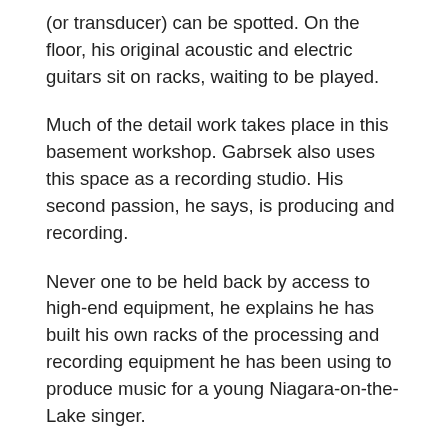(or transducer) can be spotted. On the floor, his original acoustic and electric guitars sit on racks, waiting to be played.
Much of the detail work takes place in this basement workshop. Gabrsek also uses this space as a recording studio. His second passion, he says, is producing and recording.
Never one to be held back by access to high-end equipment, he explains he has built his own racks of the processing and recording equipment he has been using to produce music for a young Niagara-on-the-Lake singer.
Gabrsek takes it even further. Desiring to acquire a large diaphragm condenser Telefunken U47 microphone, which can retail for more than $10,000, he decided to